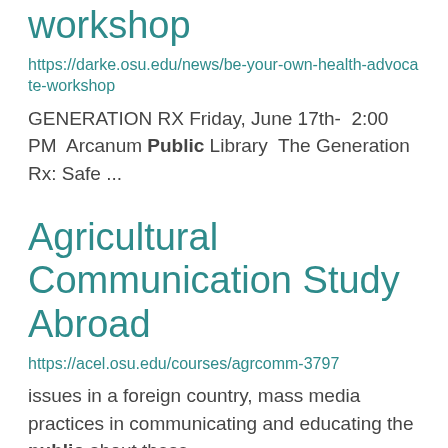workshop
https://darke.osu.edu/news/be-your-own-health-advocate-workshop
GENERATION RX Friday, June 17th- 2:00 PM Arcanum Public Library The Generation Rx: Safe ...
Agricultural Communication Study Abroad
https://acel.osu.edu/courses/agrcomm-3797
issues in a foreign country, mass media practices in communicating and educating the public about these ...
…